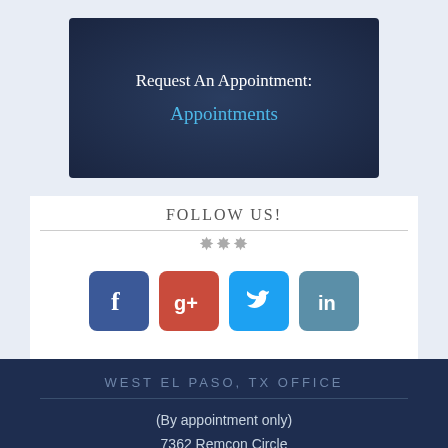Request An Appointment:
Appointments
FOLLOW US!
[Figure (infographic): Social media icons for Facebook, Google+, Twitter, and LinkedIn]
WEST EL PASO, TX OFFICE
(By appointment only)
7362 Remcon Circle
El Paso, Texas 79912